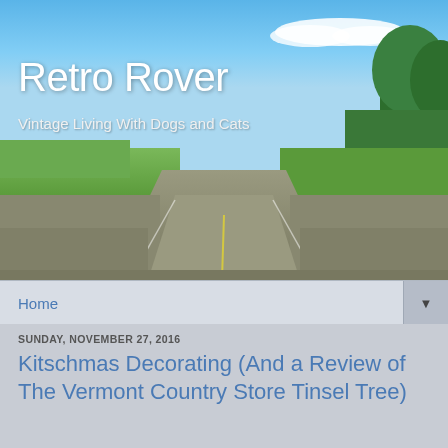[Figure (photo): Blog header banner showing a road stretching into the distance with blue sky, green trees, and a cloud]
Retro Rover
Vintage Living With Dogs and Cats
Home ▼
SUNDAY, NOVEMBER 27, 2016
Kitschmas Decorating (And a Review of The Vermont Country Store Tinsel Tree)
I may never achieve my dream of a mid century home perfectly decorated for Christmas:
[Figure (photo): Partial photo of what appears to be a Christmas tinsel tree, black and white or dark toned, partially visible at bottom of page]